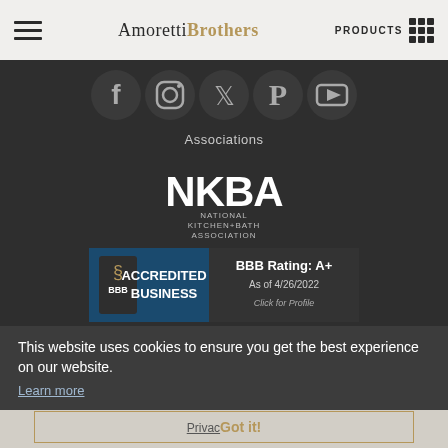Amoretti Brothers — PRODUCTS
[Figure (illustration): Social media icons row: Facebook, Instagram, Twitter, Pinterest, YouTube on dark background]
Associations
[Figure (logo): NKBA - National Kitchen+Bath Association logo in white on dark background]
[Figure (logo): BBB Accredited Business badge with BBB Rating: A+ As of 4/26/2022 Click for Profile]
This website uses cookies to ensure you get the best experience on our website.
Learn more
Copyright © 2022 AmorettiBrothers Inc. All rights reserved.
Privacy   Got it!
Website terms & conditions